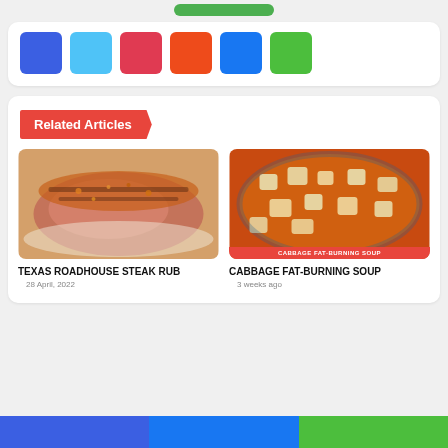[Figure (other): Row of colored social share icon squares: blue (Facebook), light blue (Twitter), red (Pinterest), orange-red (Reddit), blue (Messenger), green (WhatsApp)]
Related Articles
[Figure (photo): Photo of Texas Roadhouse Steak Rub — a raw steak covered in orange/red spice rub on a white surface]
TEXAS ROADHOUSE STEAK RUB
28 April, 2022
[Figure (photo): Photo of Cabbage Fat-Burning Soup — a bowl of orange-red soup with chopped cabbage and vegetables, with overlay label CABBAGE FAT-BURNING SOUP]
CABBAGE FAT-BURNING SOUP
3 weeks ago